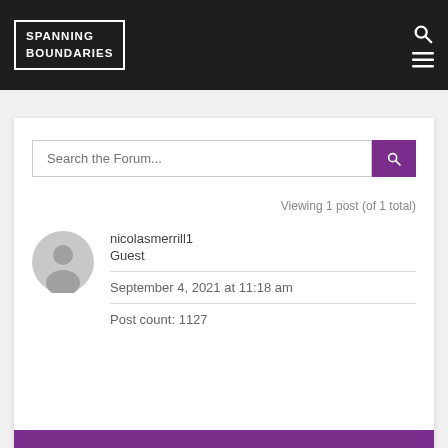SPANNING BOUNDARIES
Search the Forum...
Viewing 1 post (of 1 total)
nicolasmerrill1
Guest
September 4, 2021 at 11:18 am
Post count: 1127